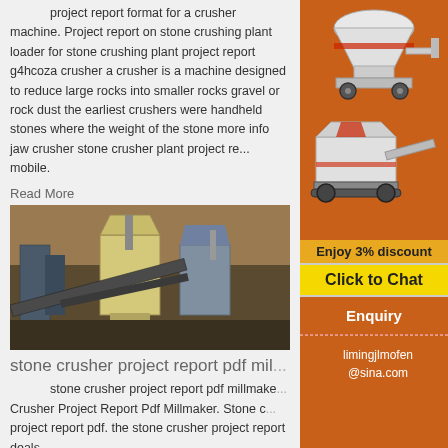project report format for a crusher machine. Project report on stone crushing plant loader for stone crushing plant project report g4hcoza crusher a crusher is a machine designed to reduce large rocks into smaller rocks gravel or rock dust the earliest crushers were handheld stones where the weight of the stone more info jaw crusher stone crusher plant project re... mobile.
Read More
[Figure (photo): Photo of a stone crushing plant with industrial machinery, conveyors, and crushers in a quarry setting]
stone crusher project report pdf mil...
stone crusher project report pdf millmake... Crusher Project Report Pdf Millmaker. Stone c... project report pdf. the stone crusher project report deals
[Figure (infographic): Sidebar advertisement showing orange background with images of crushing/milling machines, Enjoy 3% discount text, Click to Chat button, Enquiry section, and limingjlmofen@sina.com contact]